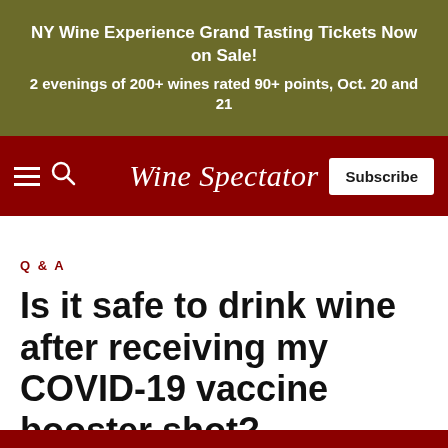[Figure (screenshot): Olive/khaki colored advertisement banner for NY Wine Experience Grand Tasting Tickets]
Wine Spectator navigation bar with hamburger menu, search icon, logo, and Subscribe button
Q & A
Is it safe to drink wine after receiving my COVID-19 vaccine booster shot?